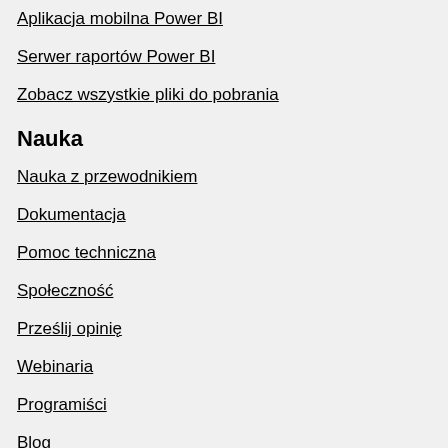Aplikacja mobilna Power BI
Serwer raportów Power BI
Zobacz wszystkie pliki do pobrania
Nauka
Nauka z przewodnikiem
Dokumentacja
Pomoc techniczna
Społeczność
Prześlij opinię
Webinaria
Programiści
Blog
Biuletyn